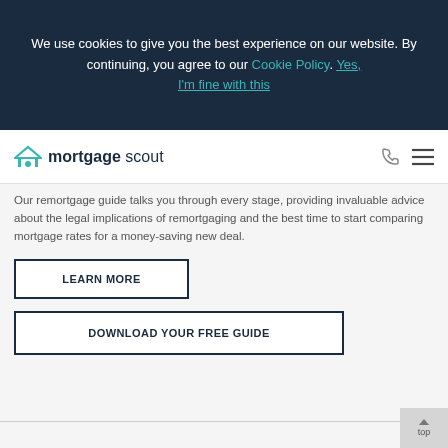We use cookies to give you the best experience on our website. By continuing, you agree to our Cookie Policy. Yes, I'm fine with this
whether you're remortgaging for home improvements...
[Figure (logo): Mortgage Scout logo with house icon]
Our remortgage guide talks you through every stage, providing invaluable advice about the legal implications of remortgaging and the best time to start comparing mortgage rates for a money-saving new deal.
LEARN MORE
DOWNLOAD YOUR FREE GUIDE